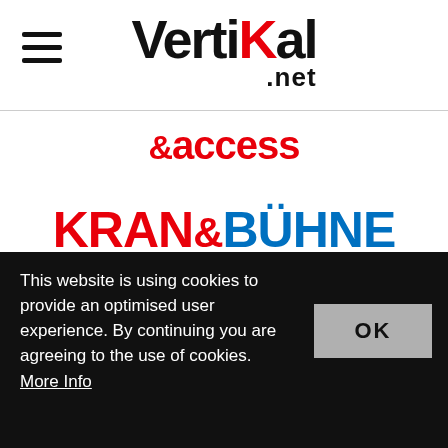Vertikal.net
[Figure (logo): & access logo in red text]
[Figure (logo): KRAN&BÜHNE logo, KRAN in red, BÜHNE in blue]
[Figure (logo): Vertikal Days logo with red crane and yellow sun graphic]
This website is using cookies to provide an optimised user experience. By continuing you are agreeing to the use of cookies. More Info
OK